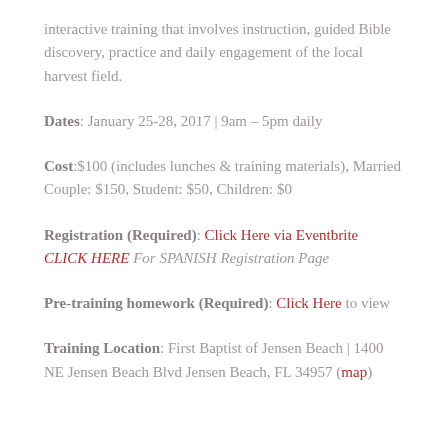interactive training that involves instruction, guided Bible discovery, practice and daily engagement of the local harvest field.
Dates: January 25-28, 2017 | 9am – 5pm daily
Cost: $100 (includes lunches & training materials), Married Couple: $150, Student: $50, Children: $0
Registration (Required): Click Here via Eventbrite CLICK HERE For SPANISH Registration Page
Pre-training homework (Required): Click Here to view
Training Location: First Baptist of Jensen Beach | 1400 NE Jensen Beach Blvd Jensen Beach, FL 34957 (map)